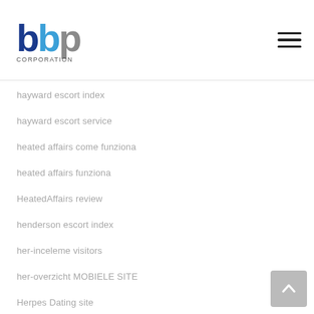[Figure (logo): bbp CORPORATION logo with stylized blue and grey letters]
hayward escort index
hayward escort service
heated affairs come funziona
heated affairs funziona
HeatedAffairs review
henderson escort index
her-inceleme visitors
her-overzicht MOBIELE SITE
Herpes Dating site
Heterosexual dating username